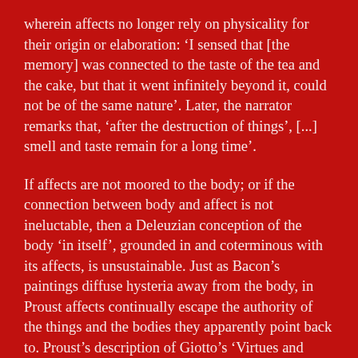wherein affects no longer rely on physicality for their origin or elaboration: 'I sensed that [the memory] was connected to the taste of the tea and the cake, but that it went infinitely beyond it, could not be of the same nature'. Later, the narrator remarks that, 'after the destruction of things', [...] smell and taste remain for a long time'.
If affects are not moored to the body; or if the connection between body and affect is not ineluctable, then a Deleuzian conception of the body 'in itself', grounded in and coterminous with its affects, is unsustainable. Just as Bacon's paintings diffuse hysteria away from the body, in Proust affects continually escape the authority of the things and the bodies they apparently point back to. Proust's description of Giotto's 'Virtues and Vices of Padua' seems to anticipate Berlant's own vocabulary, whereby affective